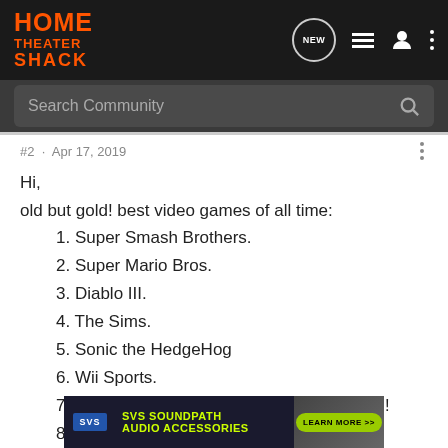[Figure (screenshot): Home Theater Shack navigation bar with logo and icons]
[Figure (screenshot): Search Community search bar]
#2 · Apr 17, 2019
Hi,
old but gold! best video games of all time:
1. Super Smash Brothers.
2. Super Mario Bros.
3. Diablo III.
4. The Sims.
5. Sonic the HedgeHog
6. Wii Sports.
7. Tetris. Bet you didn't see THIS one coming!
8. Pacman.
[Figure (screenshot): SVS SoundPath Audio Accessories advertisement banner with Learn More button]